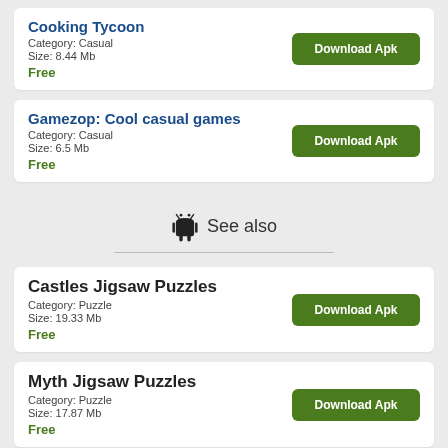Cooking Tycoon
Category: Casual
Size: 8.44 Mb
Free
Download Apk
Gamezop: Cool casual games
Category: Casual
Size: 6.5 Mb
Free
Download Apk
See also
Castles Jigsaw Puzzles
Category: Puzzle
Size: 19.33 Mb
Free
Download Apk
Myth Jigsaw Puzzles
Category: Puzzle
Size: 17.87 Mb
Free
Download Apk